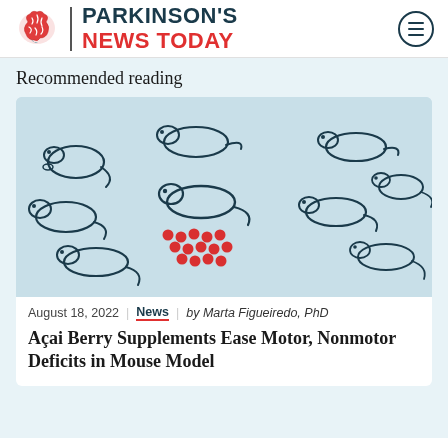PARKINSON'S NEWS TODAY
Recommended reading
[Figure (illustration): Illustration of multiple mice drawn in dark ink on a light blue background, with red dots scattered among them representing açai berries]
August 18, 2022 | News | by Marta Figueiredo, PhD
Açai Berry Supplements Ease Motor, Nonmotor Deficits in Mouse Model